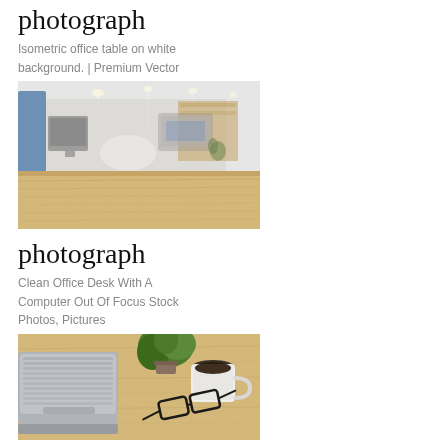photograph
Isometric office table on white background. | Premium Vector
[Figure (photo): Blurred office interior with a wooden desk in the foreground, monitors and office furniture visible in the background with bright overhead lighting.]
photograph
Clean Office Desk With A Computer Out Of Focus Stock Photos, Pictures
[Figure (photo): Top-down view of a clean office desk with a laptop keyboard, small green plant, white coffee cup, and black glasses on a wooden surface.]